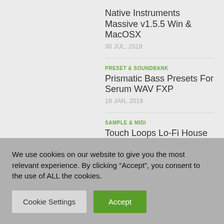Native Instruments Massive v1.5.5 Win & MacOSX
30 JUL, 2018
PRESET & SOUNDBANK
Prismatic Bass Presets For Serum WAV FXP
18 JAN, 2019
SAMPLE & MIDI
Touch Loops Lo-Fi House
3 MAY, 2018
SAMPLE & MIDI
We use cookies on our website to give you the most relevant experience. By clicking “Accept”, you consent to the use of ALL the cookies.